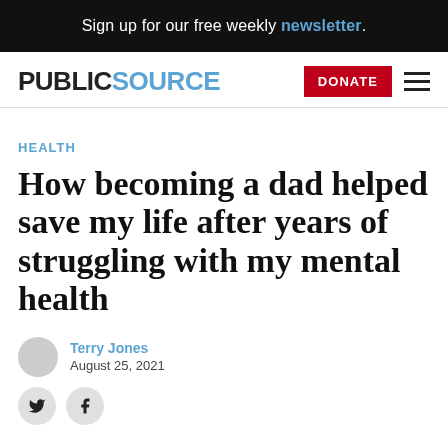Sign up for our free weekly newsletter.
PUBLICSOURCE
HEALTH
How becoming a dad helped save my life after years of struggling with my mental health
Terry Jones
August 25, 2021